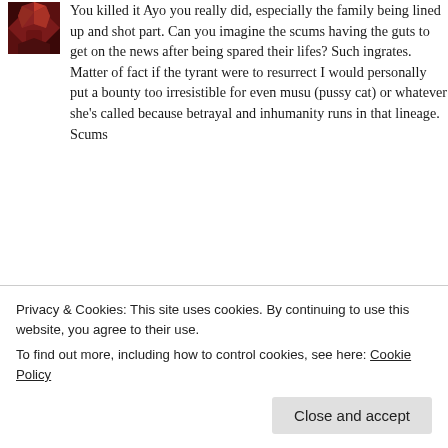You killed it Ayo you really did, especially the family being lined up and shot part. Can you imagine the scums having the guts to get on the news after being spared their lifes? Such ingrates. Matter of fact if the tyrant were to resurrect I would personally put a bounty too irresistible for even musu (pussy cat) or whatever she's called because betrayal and inhumanity runs in that lineage. Scums
★ Like
👍 1 👎 1 🔵 Rate This
Privacy & Cookies: This site uses cookies. By continuing to use this website, you agree to their use. To find out more, including how to control cookies, see here: Cookie Policy
Close and accept